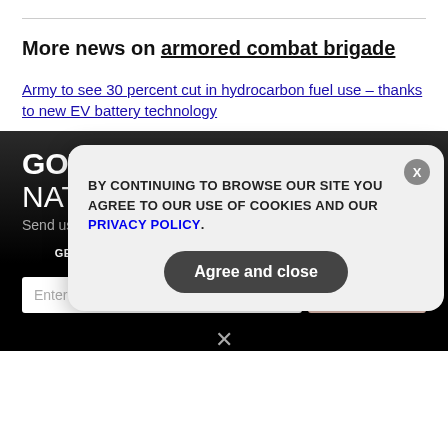More news on armored combat brigade
Army to see 30 percent cut in hydrocarbon fuel use – thanks to new EV battery technology
GOT A NEWS TIP FOR NATURALNEWS?
Send us your news tip, and we'll investigate!
GET THE WORLD'S BEST NATURAL HEALTH NEWSLETTER DELIVERED STRAIGHT TO YOUR INBOX
BY CONTINUING TO BROWSE OUR SITE YOU AGREE TO OUR USE OF COOKIES AND OUR PRIVACY POLICY.
Agree and close